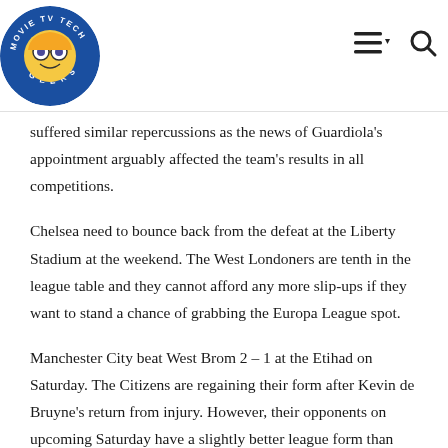Movie TV Tech Geeks [logo] with menu and search icons
suffered similar repercussions as the news of Guardiola's appointment arguably affected the team's results in all competitions.
Chelsea need to bounce back from the defeat at the Liberty Stadium at the weekend. The West Londoners are tenth in the league table and they cannot afford any more slip-ups if they want to stand a chance of grabbing the Europa League spot.
Manchester City beat West Brom 2 – 1 at the Etihad on Saturday. The Citizens are regaining their form after Kevin de Bruyne's return from injury. However, their opponents on upcoming Saturday have a slightly better league form than them. Chelsea have won three and drawn two of their last six Premier League games while Pellegrini's City have three wins and two losses from their last six league games.